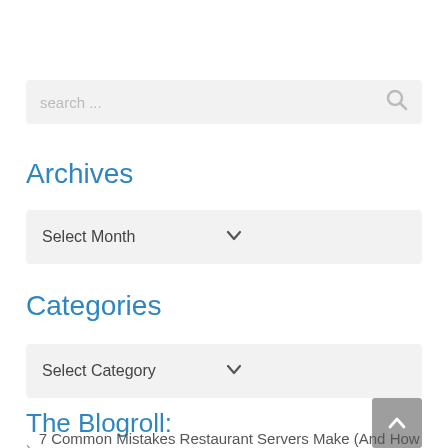search ...
Archives
Select Month
Categories
Select Category
The Blogroll:
7 Common Mistakes Restaurant Servers Make (And How to